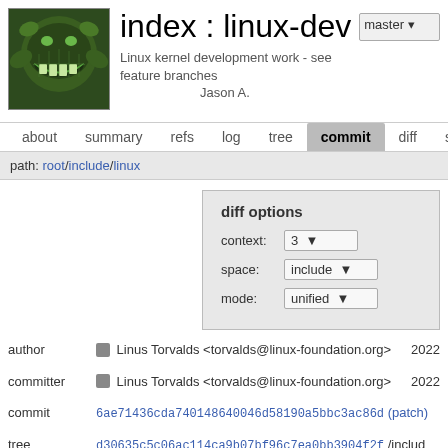index : linux-dev
Linux kernel development work - see feature branches
Jason A.
about  summary  refs  log  tree  commit  diff  stat
path: root/include/linux
diff options
context: 3
space: include
mode: unified
author   Linus Torvalds <torvalds@linux-foundation.org>  2022
committer   Linus Torvalds <torvalds@linux-foundation.org>  2022
commit  6ae71436cda740148640046d58190a5bbc3ac86d (patch)
tree  d30635c5c06ac114ca9b07bf96c7ea0bb3904f2f /includ
parent  Merge tag 'Wcast-function-type-5.17-rc1' of git://git.kernel.org/pub/scm/linux/kernel/git/gu